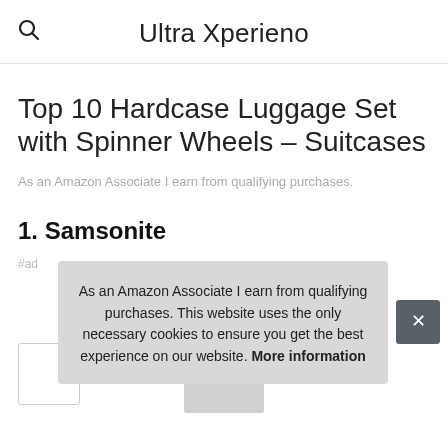Ultra Xperieno
Top 10 Hardcase Luggage Set with Spinner Wheels – Suitcases
As an Amazon Associate I earn from qualifying purchases.
1. Samsonite
As an Amazon Associate I earn from qualifying purchases. This website uses the only necessary cookies to ensure you get the best experience on our website. More information